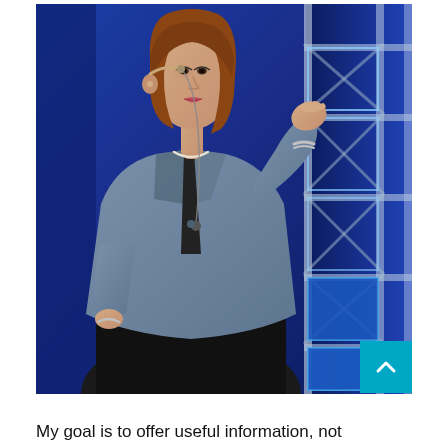[Figure (photo): A woman with brown shoulder-length hair wearing a blue-grey blazer and black skirt speaks on stage, holding a microphone headset. She gestures with her right hand raised. Behind her is a blue lit backdrop with a white scaffolding structure. She wears a pearl necklace and bracelet.]
My goal is to offer useful information, not